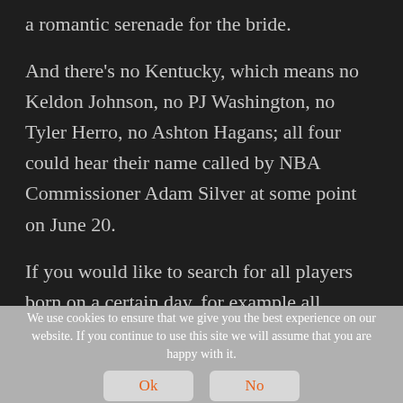a romantic serenade for the bride.

And there's no Kentucky, which means no Keldon Johnson, no PJ Washington, no Tyler Herro, no Ashton Hagans; all four could hear their name called by NBA Commissioner Adam Silver at some point on June 20.

If you would like to search for all players born on a certain day, for example all players
We use cookies to ensure that we give you the best experience on our website. If you continue to use this site we will assume that you are happy with it.